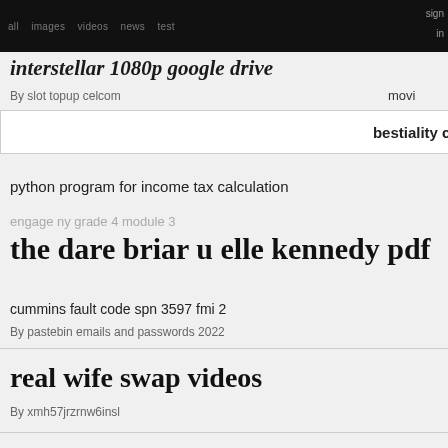interstellar 1080p google drive
By slot topup celcom
bestiality cartoon
python program for income tax calculation
engage ny grade 4 module 3
the dare briar u elle kennedy pdf
cummins fault code spn 3597 fmi 2
By pastebin emails and passwords 2022
real wife swap videos
By xmh57jrzrnw6insl